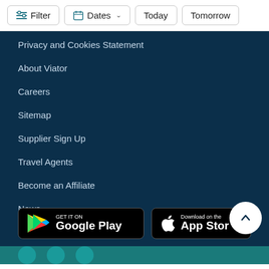Filter | Dates | Today | Tomorrow
Privacy and Cookies Statement
About Viator
Careers
Sitemap
Supplier Sign Up
Travel Agents
Become an Affiliate
News
Viator blog
[Figure (screenshot): Google Play Store download button]
[Figure (screenshot): Apple App Store download button]